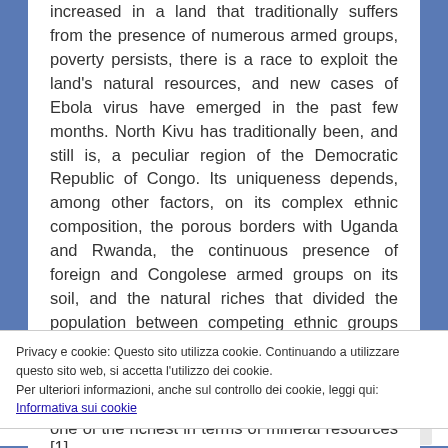increased in a land that traditionally suffers from the presence of numerous armed groups, poverty persists, there is a race to exploit the land's natural resources, and new cases of Ebola virus have emerged in the past few months. North Kivu has traditionally been, and still is, a peculiar region of the Democratic Republic of Congo. Its uniqueness depends, among other factors, on its complex ethnic composition, the porous borders with Uganda and Rwanda, the continuous presence of foreign and Congolese armed groups on its soil, and the natural riches that divided the population between competing ethnic groups and ruthless
Privacy e cookie: Questo sito utilizza cookie. Continuando a utilizzare questo sito web, si accetta l'utilizzo dei cookie.
Per ulteriori informazioni, anche sul controllo dei cookie, leggi qui:
Informativa sui cookie
Chiudi e accetta
one of the richest in terms of mineral resources [1].